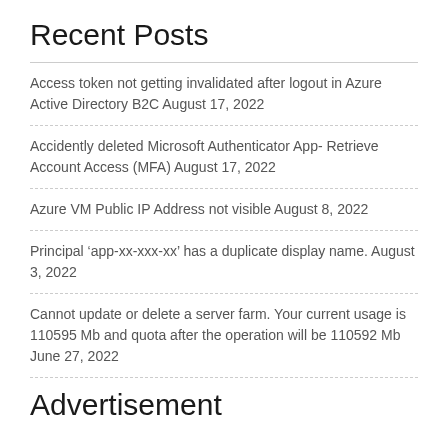Recent Posts
Access token not getting invalidated after logout in Azure Active Directory B2C August 17, 2022
Accidently deleted Microsoft Authenticator App- Retrieve Account Access (MFA) August 17, 2022
Azure VM Public IP Address not visible August 8, 2022
Principal ‘app-xx-xxx-xx’ has a duplicate display name. August 3, 2022
Cannot update or delete a server farm. Your current usage is 110595 Mb and quota after the operation will be 110592 Mb June 27, 2022
Advertisement